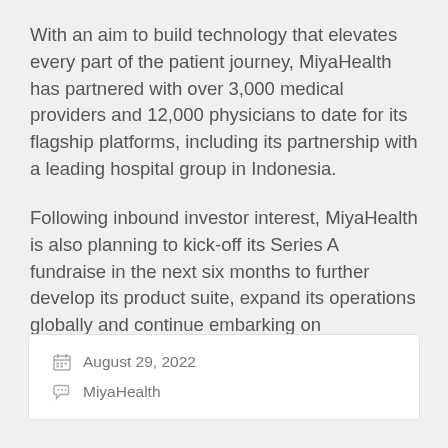With an aim to build technology that elevates every part of the patient journey, MiyaHealth has partnered with over 3,000 medical providers and 12,000 physicians to date for its flagship platforms, including its partnership with a leading hospital group in Indonesia.
Following inbound investor interest, MiyaHealth is also planning to kick-off its Series A fundraise in the next six months to further develop its product suite, expand its operations globally and continue embarking on collaborations with key stakeholders moving forward.
August 29, 2022
MiyaHealth